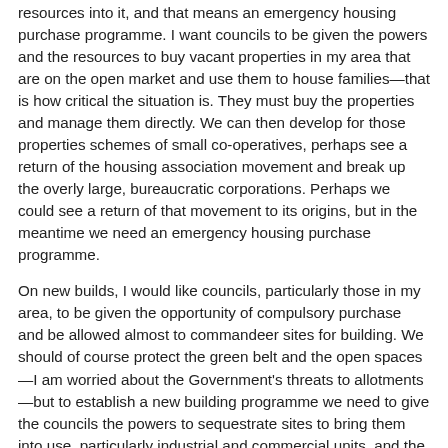resources into it, and that means an emergency housing purchase programme. I want councils to be given the powers and the resources to buy vacant properties in my area that are on the open market and use them to house families—that is how critical the situation is. They must buy the properties and manage them directly. We can then develop for those properties schemes of small co-operatives, perhaps see a return of the housing association movement and break up the overly large, bureaucratic corporations. Perhaps we could see a return of that movement to its origins, but in the meantime we need an emergency housing purchase programme.
On new builds, I would like councils, particularly those in my area, to be given the opportunity of compulsory purchase and be allowed almost to commandeer sites for building. We should of course protect the green belt and the open spaces—I am worried about the Government's threats to allotments—but to establish a new building programme we need to give the councils the powers to sequestrate sites to bring them into use, particularly industrial and commercial units, and the empty shops and properties above shops in town centres. Of course we can use creative design and creative construction techniques but, above all else, we just need to start building council homes again.
I also want an emergency programme of refurbishment. I want the decent homes programme to be not only maintained, but extended and